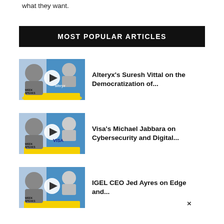what they want.
MOST POPULAR ARTICLES
[Figure (other): Thumbnail for article: Alteryx's Suresh Vittal on the Democratization of... — shows two people on a blue/yellow background with a play button circle and Alteryx logo]
Alteryx's Suresh Vittal on the Democratization of...
[Figure (other): Thumbnail for article: Visa's Michael Jabbara on Cybersecurity and Digital... — shows two people on a blue/yellow background with a play button circle and VISA logo]
Visa's Michael Jabbara on Cybersecurity and Digital...
[Figure (other): Thumbnail for article: IGEL CEO Jed Ayres on Edge and... — shows two people on a blue/yellow background with a play button circle]
IGEL CEO Jed Ayres on Edge and...